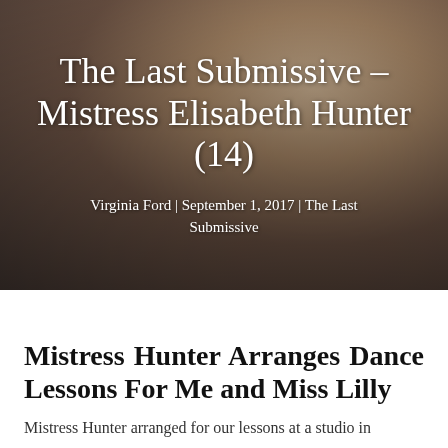[Figure (photo): Background photo of people on a couch with a dark warm-toned overlay]
The Last Submissive – Mistress Elisabeth Hunter (14)
Virginia Ford | September 1, 2017 | The Last Submissive
Mistress Hunter Arranges Dance Lessons For Me and Miss Lilly
Mistress Hunter arranged for our lessons at a studio in